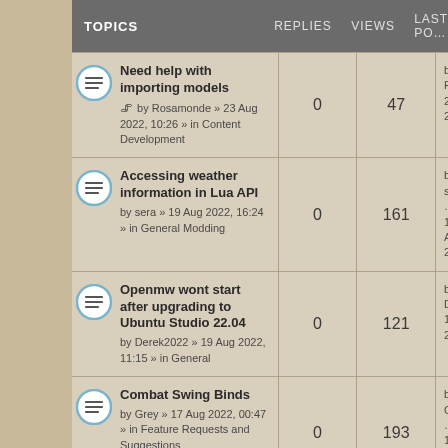| TOPICS | REPLIES | VIEWS | LAST PO... |
| --- | --- | --- | --- |
| Need help with importing models
📎 by Rosamonde » 23 Aug 2022, 10:26 » in Content Development | 0 | 47 | by Rosar...
23 Aug 2... |
| Accessing weather information in Lua API
by sera » 19 Aug 2022, 16:24 » in General Modding | 0 | 161 | by sera ...
19 Aug 2... |
| Openmw wont start after upgrading to Ubuntu Studio 22.04
by Derek2022 » 19 Aug 2022, 11:15 » in General | 0 | 121 | by Derek...
19 Aug 2... |
| Combat Swing Binds
by Grey » 17 Aug 2022, 00:47 » in Feature Requests and Suggestions | 0 | 193 | by Grey ...
17 Aug 2... |
| How to make regenerating magicka?? | 0 | 143 | by Deepa...
03 Aug 2... |